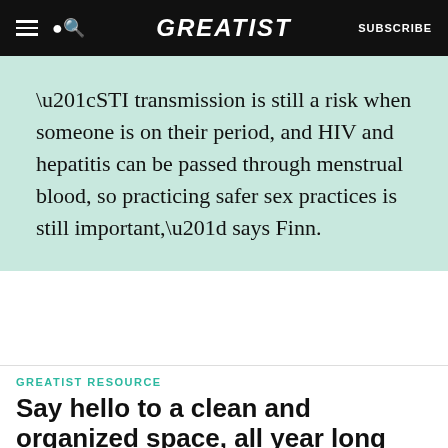GREATIST | SUBSCRIBE
“STI transmission is still a risk when someone is on their period, and HIV and hepatitis can be passed through menstrual blood, so practicing safer sex practices is still important,” says Finn.
GREATIST RESOURCE
Say hello to a clean and organized space, all year long
Get our 12-day guide to declutter your space the
ADVERTISEMENT
Let’s be friends with (health) benefits. Follow GREATIST on Instagram FOLLOW US